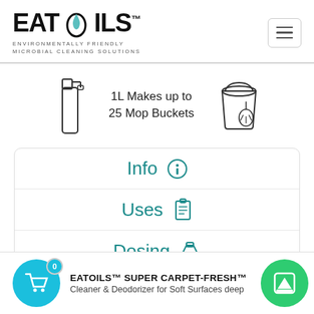[Figure (logo): EATOILS logo with droplet replacing the O, subtext: ENVIRONMENTALLY FRIENDLY MICROBIAL CLEANING SOLUTIONS]
[Figure (infographic): Spray bottle icon on left, text '1L Makes up to 25 Mop Buckets' in center, mop bucket icon on right]
Info
Uses
Dosing
SDS
EATOILS™ SUPER CARPET-FRESH™
Cleaner & Deodorizer for Soft Surfaces deep